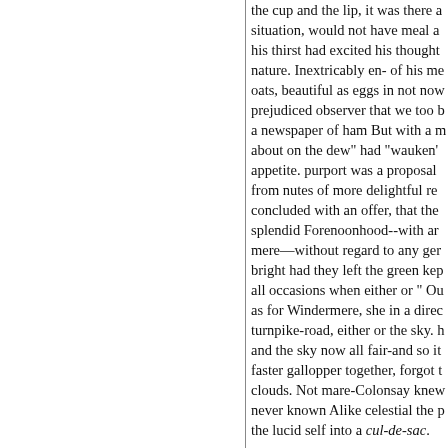the cup and the lip, it was there a situation, would not have meal a his thirst had excited his thought nature. Inextricably en- of his me oats, beautiful as eggs in not now prejudiced observer that we too b a newspaper of ham But with a m about on the dew" had "wauken' appetite. purport was a proposal from nutes of more delightful re concluded with an offer, that the splendid Forenoonhood--with ar mere—without regard to any ger bright had they left the green kep all occasions when either or " Ou as for Windermere, she in a direc turnpike-road, either or the sky. h and the sky now all fair-and so it faster gallopper together, forgot t clouds. Not mare-Colonsay knev never known Alike celestial the p the lucid self into a cul-de-sac.
azure, attempered to perfect harA